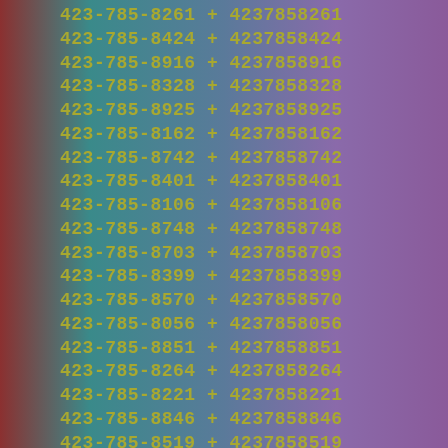423-785-8261 + 4237858261
423-785-8424 + 4237858424
423-785-8916 + 4237858916
423-785-8328 + 4237858328
423-785-8925 + 4237858925
423-785-8162 + 4237858162
423-785-8742 + 4237858742
423-785-8401 + 4237858401
423-785-8106 + 4237858106
423-785-8748 + 4237858748
423-785-8703 + 4237858703
423-785-8399 + 4237858399
423-785-8570 + 4237858570
423-785-8056 + 4237858056
423-785-8851 + 4237858851
423-785-8264 + 4237858264
423-785-8221 + 4237858221
423-785-8846 + 4237858846
423-785-8519 + 4237858519
423-785-8958 + 4237858958
423-785-8503 + 4237858503
423-785-8192 + 4237858192
423-785-8271 + 4237858271